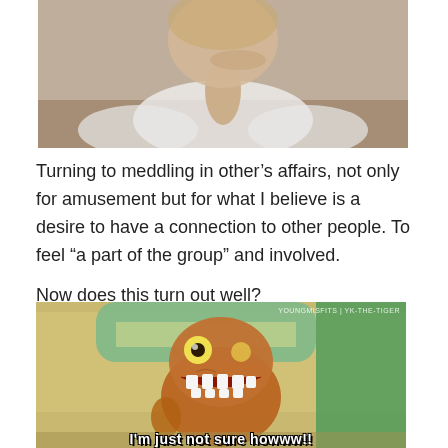[Figure (photo): Partial photo of a woman in a white top, resting her head on her hand, seated at a table]
Turning to meddling in other’s affairs, not only for amusement but for what I believe is a desire to have a connection to other people. To feel “a part of the group” and involved.
Now does this turn out well?
[Figure (screenshot): Animated cartoon T-Rex dinosaur with wide eyes and open mouth showing teeth, from an animated movie scene. A watermark reads YOUNGMISFITS | YK-THE-TIGER at top right. Caption at bottom reads: I'm just not sure howww!!]